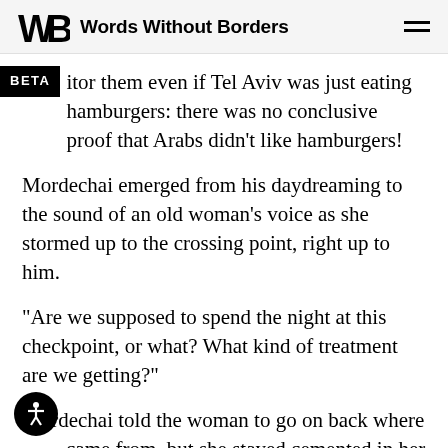Words Without Borders
itor them even if Tel Aviv was just eating hamburgers: there was no conclusive proof that Arabs didn't like hamburgers!
Mordechai emerged from his daydreaming to the sound of an old woman's voice as she stormed up to the crossing point, right up to him.
“Are we supposed to spend the night at this checkpoint, or what? What kind of treatment are we getting?”
Mordechai told the woman to go on back where came from, but she stayed cemented in her spot. The other soldier, Mordechai’s friend, gave